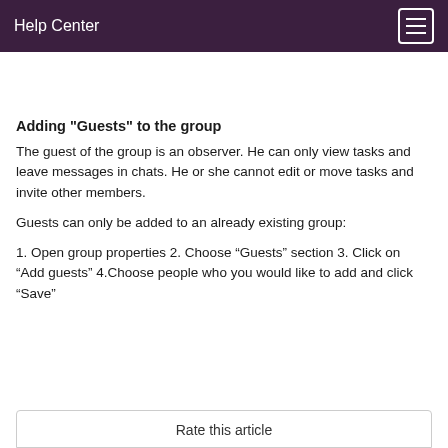Help Center
Adding "Guests" to the group
The guest of the group is an observer. He can only view tasks and leave messages in chats. He or she cannot edit or move tasks and invite other members.
Guests can only be added to an already existing group:
1. Open group properties 2. Choose “Guests” section 3. Click on “Add guests” 4.Choose people who you would like to add and click “Save”
Rate this article